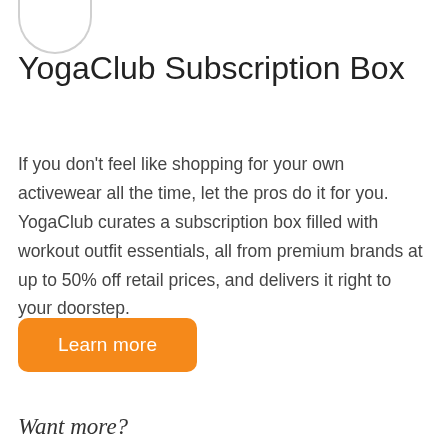[Figure (logo): Partial circular logo at the top left corner, showing the bottom half of a circle outline]
YogaClub Subscription Box
If you don't feel like shopping for your own activewear all the time, let the pros do it for you. YogaClub curates a subscription box filled with workout outfit essentials, all from premium brands at up to 50% off retail prices, and delivers it right to your doorstep.
[Figure (other): Orange rounded rectangle button with white text reading 'Learn more']
Want more?